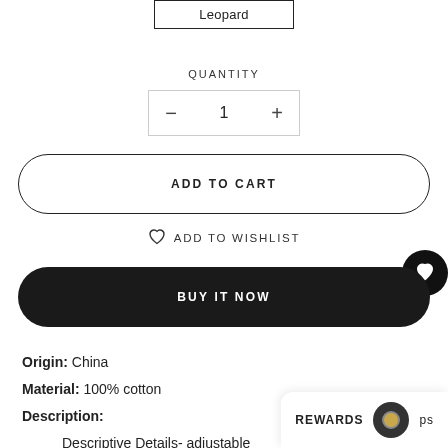Leopard
QUANTITY
- 1 +
ADD TO CART
ADD TO WISHLIST
BUY IT NOW
Origin: China
Material: 100% cotton
Description:
Descriptive Details- adjustable for different height ponytails
REWARDS ps